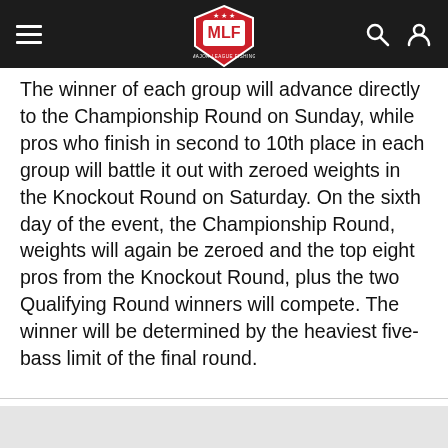MLF (Major League Fishing) navigation bar with hamburger menu, MLF logo, search and user icons
The winner of each group will advance directly to the Championship Round on Sunday, while pros who finish in second to 10th place in each group will battle it out with zeroed weights in the Knockout Round on Saturday. On the sixth day of the event, the Championship Round, weights will again be zeroed and the top eight pros from the Knockout Round, plus the two Qualifying Round winners will compete. The winner will be determined by the heaviest five-bass limit of the final round.
We use Cookies to improve your browsing experience and help us improve our website. Our Privacy Policy and Terms of Service have changed. Click OK to agree.